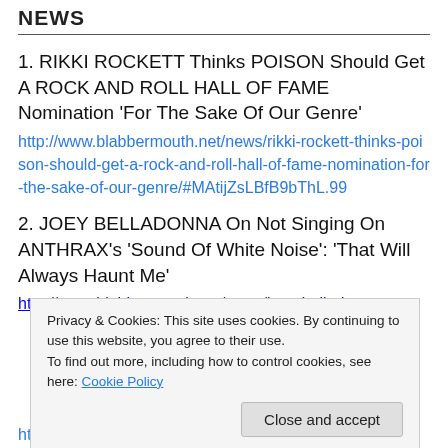NEWS
1. RIKKI ROCKETT Thinks POISON Should Get A ROCK AND ROLL HALL OF FAME Nomination ‘For The Sake Of Our Genre’
http://www.blabbermouth.net/news/rikki-rockett-thinks-poison-should-get-a-rock-and-roll-hall-of-fame-nomination-for-the-sake-of-our-genre/#MAtijZsLBfB9bThL.99
2. JOEY BELLADONNA On Not Singing On ANTHRAX’s ‘Sound Of White Noise’: ‘That Will Always Haunt Me’
http://www.blabbermouth.net/news/joey-belladonna-on-
Privacy & Cookies: This site uses cookies. By continuing to use this website, you agree to their use.
To find out more, including how to control cookies, see here: Cookie Policy
http://www.blabbermouth.net/news/joey-belladonna-on-...